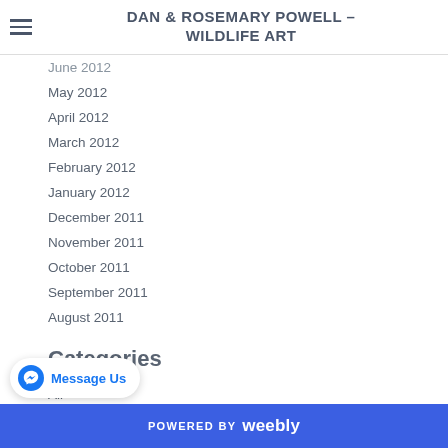DAN & ROSEMARY POWELL - WILDLIFE ART
June 2012
May 2012
April 2012
March 2012
February 2012
January 2012
December 2011
November 2011
October 2011
September 2011
August 2011
Categories
All
Avocets
POWERED BY weebly